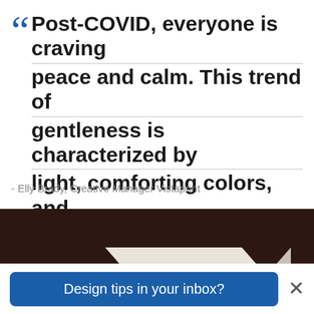Post-COVID, everyone is craving peace and calm. This trend of gentleness is characterized by light, comforting colors, and minimal elements that create an airy feeling.
- Elly Brady, Creative Manager Vistaprint
[Figure (photo): A minimalist white product box with a dark rectangular cutout/window, photographed on a dark brown background]
Design tips in your inbox?